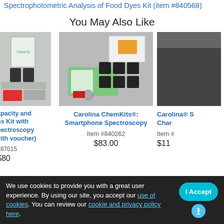Spectrophotometric Analysis of Food Dyes Kit (item #840568)
You May Also Like
[Figure (photo): Left product photo: lab kit with cuvettes and accessories, partially cropped]
[Figure (photo): Center product photo: Carolina ChemKits Smartphone Spectroscopy kit with green holder, black cuvettes, and accessories on gray background]
[Figure (photo): Right product photo: dark gray rectangular case, partially cropped]
apacity and ns Kit with pectroscopy vith voucher)
Carolina ChemKits®: Smartphone Spectroscopy
Carolina® S Char
187015
Item #840262
Item #
$83.00
$11
$80
We use cookies to provide you with a great user experience. By using our site, you accept our use of cookies. You can review our cookie and privacy policy here.